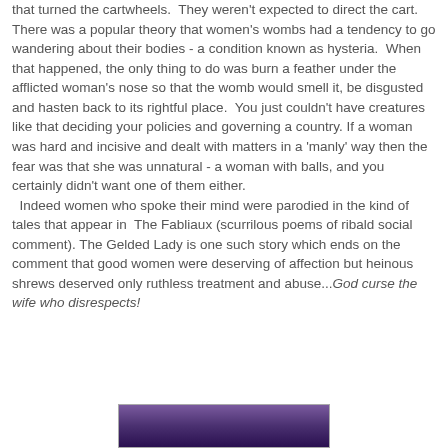that turned the cartwheels.  They weren't expected to direct the cart.
There was a popular theory that women's wombs had a tendency to go wandering about their bodies - a condition known as hysteria.  When that happened, the only thing to do was burn a feather under the afflicted woman's nose so that the womb would smell it, be disgusted and hasten back to its rightful place.  You just couldn't have creatures like that deciding your policies and governing a country. If a woman was hard and incisive and dealt with matters in a 'manly' way then the fear was that she was unnatural - a woman with balls, and you certainly didn't want one of them either.
  Indeed women who spoke their mind were parodied in the kind of tales that appear in  The Fabliaux (scurrilous poems of ribald social comment). The Gelded Lady is one such story which ends on the comment that good women were deserving of affection but heinous shrews deserved only ruthless treatment and abuse...God curse the wife who disrespects!
[Figure (photo): Partial image visible at bottom of page showing a purple/dark colored scene, appears to be a book cover or illustration]